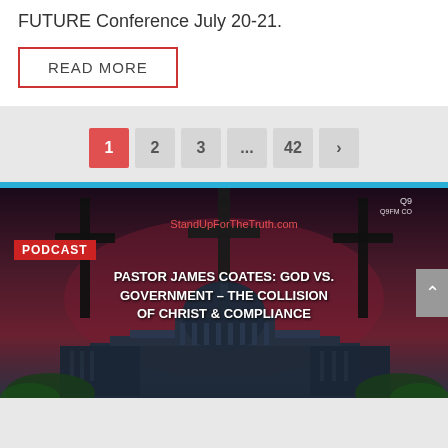FUTURE Conference July 20-21.
READ MORE
Pagination: 1 2 3 ... 42 >
[Figure (screenshot): Podcast promotional image for 'Pastor James Coates: God vs. Government – The Collision of Christ & Compliance' on StandUpForTheTruth.com, featuring silhouettes of three crosses and the U.S. Capitol building against a dark purple/red sky. Q90FM logo in upper right corner.]